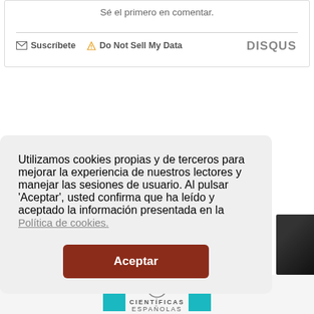Sé el primero en comentar.
Suscríbete   Do Not Sell My Data   DISQUS
Utilizamos cookies propias y de terceros para mejorar la experiencia de nuestros lectores y manejar las sesiones de usuario. Al pulsar 'Aceptar', usted confirma que ha leído y aceptado la información presentada en la Política de cookies.
Aceptar